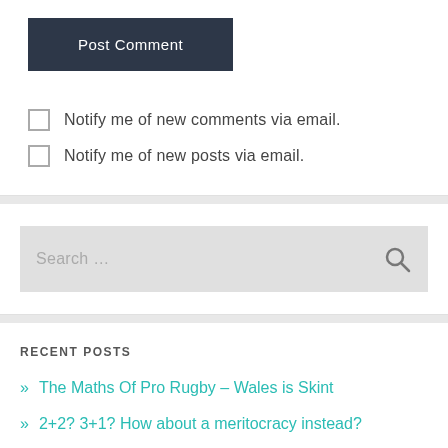[Figure (screenshot): Post Comment button — dark navy rectangle with white text]
Notify me of new comments via email.
Notify me of new posts via email.
[Figure (screenshot): Search bar with placeholder text 'Search ...' and a magnifying glass icon]
RECENT POSTS
» The Maths Of Pro Rugby – Wales is Skint
» 2+2? 3+1? How about a meritocracy instead?
» 3+1